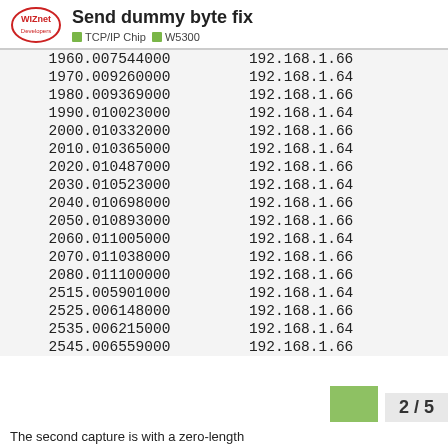Send dummy byte fix — TCP/IP Chip W5300
| No. | Time | Source |
| --- | --- | --- |
| 196 | 0.007544000 | 192.168.1.66 |
| 197 | 0.009260000 | 192.168.1.64 |
| 198 | 0.009369000 | 192.168.1.66 |
| 199 | 0.010023000 | 192.168.1.64 |
| 200 | 0.010332000 | 192.168.1.66 |
| 201 | 0.010365000 | 192.168.1.64 |
| 202 | 0.010487000 | 192.168.1.66 |
| 203 | 0.010523000 | 192.168.1.64 |
| 204 | 0.010698000 | 192.168.1.66 |
| 205 | 0.010893000 | 192.168.1.66 |
| 206 | 0.011005000 | 192.168.1.64 |
| 207 | 0.011038000 | 192.168.1.66 |
| 208 | 0.011100000 | 192.168.1.66 |
| 251 | 5.005901000 | 192.168.1.64 |
| 252 | 5.006148000 | 192.168.1.66 |
| 253 | 5.006215000 | 192.168.1.64 |
| 254 | 5.006559000 | 192.168.1.66 |
The second capture is with a zero-length